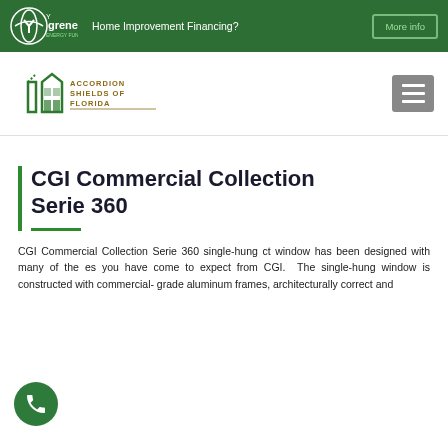Home Improvement Financing? More info
[Figure (logo): Ygrene Energy Fund logo in white on green background]
[Figure (logo): Accordion Shields of Florida logo with green building icon]
CGI Commercial Collection Serie 360
CGI Commercial Collection Serie 360 single-hung ct window has been designed with many of the es you have come to expect from CGI. The single-hung window is constructed with commercial-grade aluminum frames, architecturally correct and